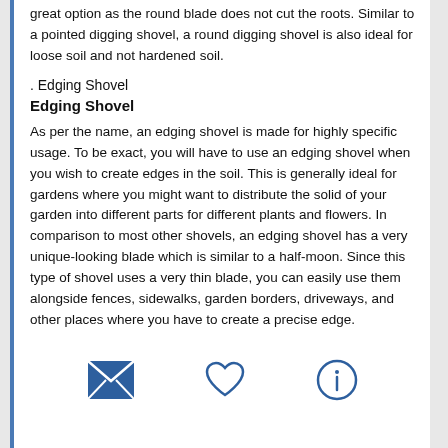great option as the round blade does not cut the roots. Similar to a pointed digging shovel, a round digging shovel is also ideal for loose soil and not hardened soil.
. Edging Shovel
Edging Shovel
As per the name, an edging shovel is made for highly specific usage. To be exact, you will have to use an edging shovel when you wish to create edges in the soil. This is generally ideal for gardens where you might want to distribute the solid of your garden into different parts for different plants and flowers. In comparison to most other shovels, an edging shovel has a very unique-looking blade which is similar to a half-moon. Since this type of shovel uses a very thin blade, you can easily use them alongside fences, sidewalks, garden borders, driveways, and other places where you have to create a precise edge.
[Figure (infographic): Three icons: envelope (mail), heart, and info circle]